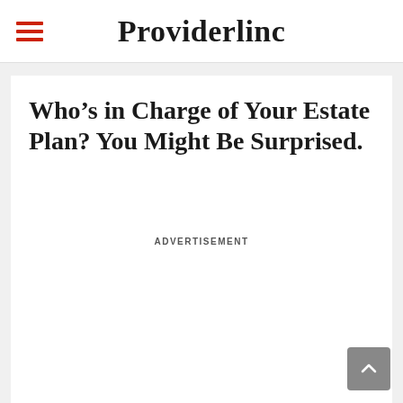Providerlinc
Who’s in Charge of Your Estate Plan? You Might Be Surprised.
ADVERTISEMENT